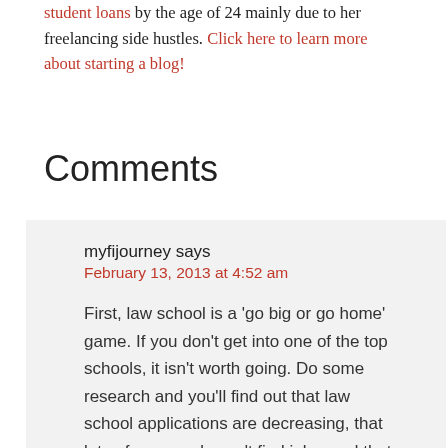student loans by the age of 24 mainly due to her freelancing side hustles. Click here to learn more about starting a blog!
Comments
myfijourney says
February 13, 2013 at 4:52 am

First, law school is a 'go big or go home' game. If you don't get into one of the top schools, it isn't worth going. Do some research and you'll find out that law school applications are decreasing, that lots of new grads can't find jobs, and that the starting